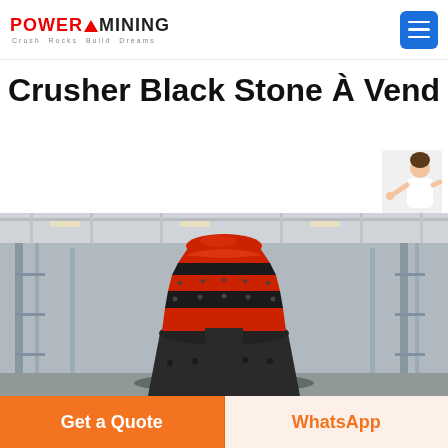[Figure (logo): Power Mining logo with red triangle and tagline 'Crush Rocks Build Dreams']
Crusher Black Stone À Vendre
[Figure (photo): Large industrial black and red cone crusher in a factory/warehouse setting]
[Figure (other): Free chat widget with person illustration and blue button]
Get a Quote
WhatsApp